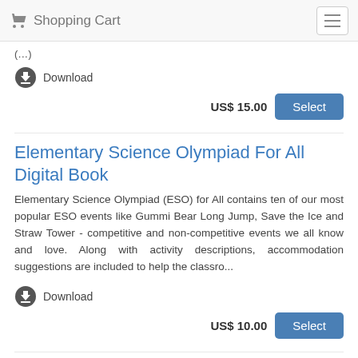Shopping Cart
(partial text cut off)
Download
US$ 15.00  Select
Elementary Science Olympiad For All Digital Book
Elementary Science Olympiad (ESO) for All contains ten of our most popular ESO events like Gummi Bear Long Jump, Save the Ice and Straw Tower - competitive and non-competitive events we all know and love. Along with activity descriptions, accommodation suggestions are included to help the classro...
Download
US$ 10.00  Select
Elementary Science Olympiad Fun